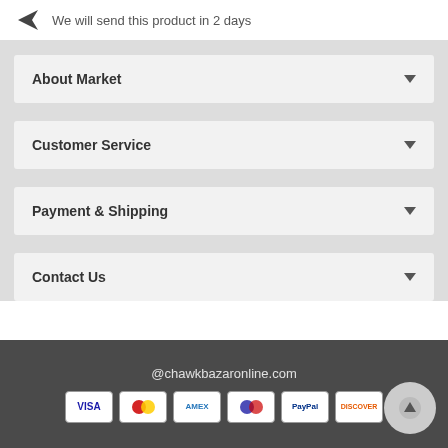We will send this product in 2 days
About Market
Customer Service
Payment & Shipping
Contact Us
@chawkbazaronline.com
[Figure (other): Payment method icons: VISA, Mastercard, AMEX, Maestro, PayPal, Discover]